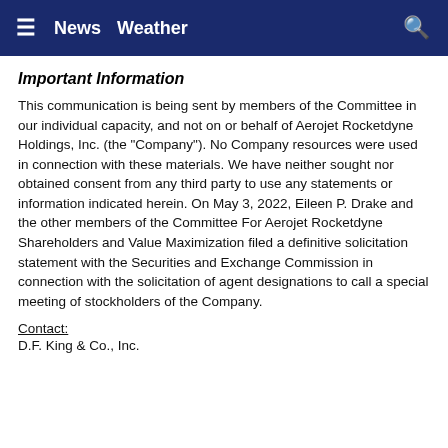≡  News  Weather  🔍
Important Information
This communication is being sent by members of the Committee in our individual capacity, and not on or behalf of Aerojet Rocketdyne Holdings, Inc. (the "Company"). No Company resources were used in connection with these materials. We have neither sought nor obtained consent from any third party to use any statements or information indicated herein. On May 3, 2022, Eileen P. Drake and the other members of the Committee For Aerojet Rocketdyne Shareholders and Value Maximization filed a definitive solicitation statement with the Securities and Exchange Commission in connection with the solicitation of agent designations to call a special meeting of stockholders of the Company.
Contact:
D.F. King & Co., Inc.